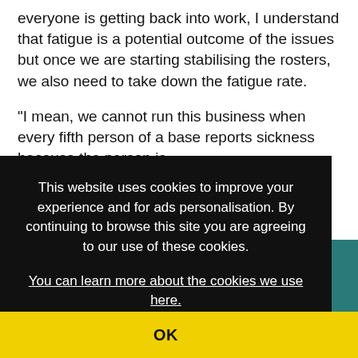everyone is getting back into work, I understand that fatigue is a potential outcome of the issues but once we are starting stabilising the rosters, we also need to take down the fatigue rate.
“I mean, we cannot run this business when every fifth person of a base reports sickness because the person is
This website uses cookies to improve your experience and for ads personalisation. By continuing to browse this site you are agreeing to our use of these cookies.
You can learn more about the cookies we use here.
OK